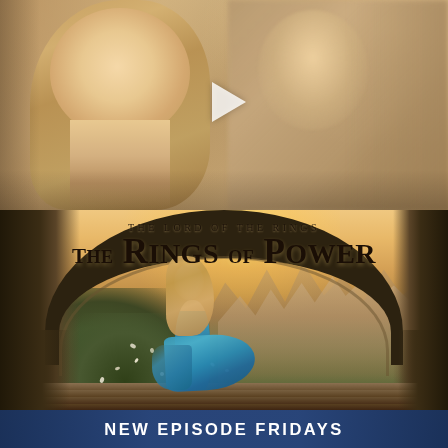[Figure (photo): Top half: movie still showing a blonde woman in foreground looking up, with blurred male figures behind her. A play button triangle is visible in the center. Warm golden/beige tones.]
[Figure (photo): Bottom half: promotional poster for 'The Lord of the Rings: The Rings of Power'. A female warrior in a teal dress walks through a grand stone arch toward a mountain city in golden sunset light. Scattered white petals. Stone steps in foreground.]
THE LORD OF THE RINGS
The Rings of Power
NEW EPISODE FRIDAYS